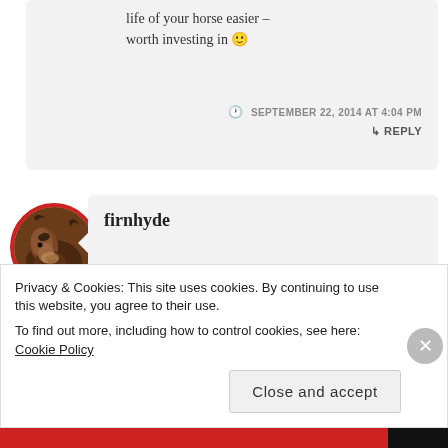life of your horse easier – worth investing in 🙂
SEPTEMBER 22, 2014 AT 4:04 PM
↳ REPLY
[Figure (photo): Circular avatar photo of a horse with a red border]
firnhyde
I think along the same
Privacy & Cookies: This site uses cookies. By continuing to use this website, you agree to their use.
To find out more, including how to control cookies, see here: Cookie Policy
Close and accept